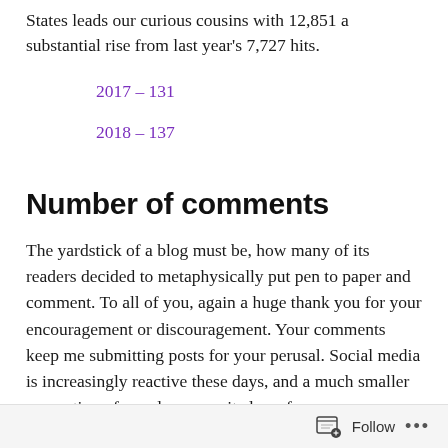States leads our curious cousins with 12,851 a substantial rise from last year's 7,727 hits.
2017 – 131
2018 – 137
Number of comments
The yardstick of a blog must be, how many of its readers decided to metaphysically put pen to paper and comment. To all of you, again a huge thank you for your encouragement or discouragement. Your comments keep me submitting posts for your perusal. Social media is increasingly reactive these days, and a much smaller proportion of people now write long-form
Follow ...